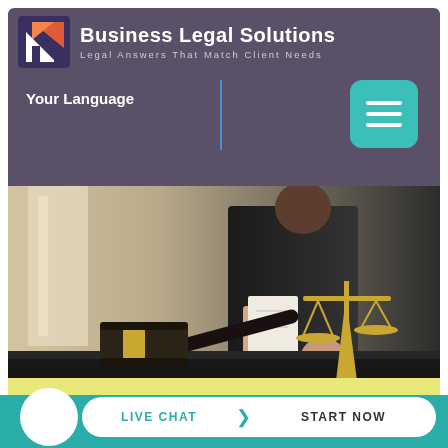Business Legal Solutions
Legal Answers That Match Client Needs
Your Language
[Figure (photo): Courtroom scene with a judge's gavel on a dark desk in the foreground, scales of justice (golden) in the background right, and a person in black judicial robes holding papers in the background]
LIVE CHAT  START NOW